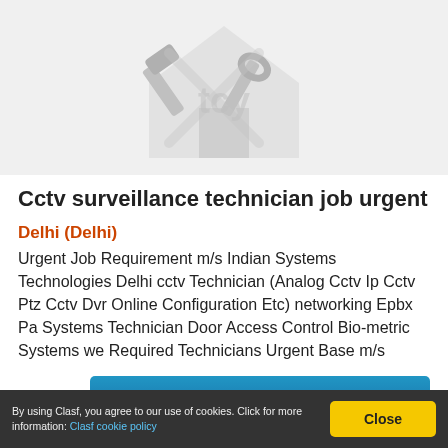[Figure (illustration): Greyed-out logo/illustration showing tools (hammer, wrench) and a house outline — placeholder image for a job listing]
Cctv surveillance technician job urgent
Delhi (Delhi)
Urgent Job Requirement m/s Indian Systems Technologies Delhi cctv Technician (Analog Cctv Ip Cctv Ptz Cctv Dvr Online Configuration Etc) networking Epbx Pa Systems Technician Door Access Control Bio-metric Systems we Required Technicians Urgent Base m/s
See product
By using Clasf, you agree to our use of cookies. Click for more information: Clasf cookie policy  Close